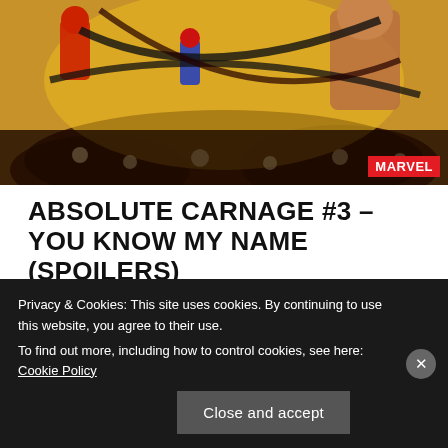[Figure (illustration): Marvel comic book cover art showing characters in action scene with skulls and dark background, Marvel logo badge in bottom right corner]
ABSOLUTE CARNAGE #3 – YOU KNOW MY NAME (SPOILERS)
Posted on September 21, 2019 in Uncategorized
This series just keeps getting crazier and crazier. Absolute Carnage #3 was such a fun issue! Eddie
Privacy & Cookies: This site uses cookies. By continuing to use this website, you agree to their use.
To find out more, including how to control cookies, see here: Cookie Policy
Close and accept